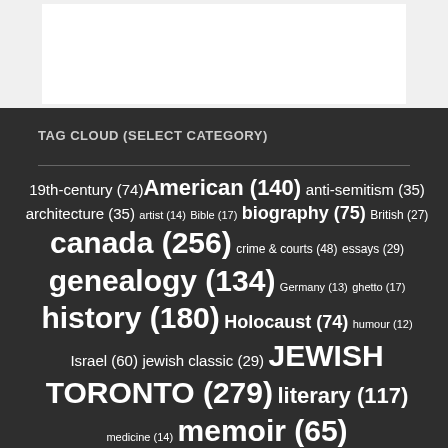TAG CLOUD (SELECT CATEGORY)
19th-century (74) American (140) anti-semitism (35) architecture (35) artist (14) Bible (17) biography (75) British (27) canada (256) crime & courts (48) essays (29) genealogy (134) Germany (13) ghetto (17) history (180) Holocaust (74) humour (12) Israel (60) jewish classic (29) JEWISH TORONTO (279) literary (117) medicine (14) memoir (65)